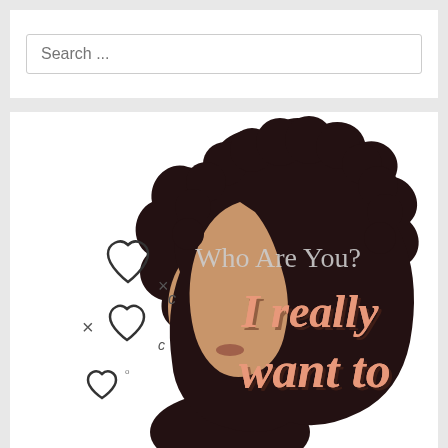Search ...
[Figure (illustration): Illustration of a silhouette of a person with a large afro hairstyle in dark brown/black. The silhouette faces left. Inside and overlaid on the dark hair area, the text reads 'Who Are You?' in light gray. Below in large script lettering in a salmon/coral color with a brown shadow: 'I really want to'. On the left side of the silhouette, floating hearts and small x marks are drawn in outline style.]